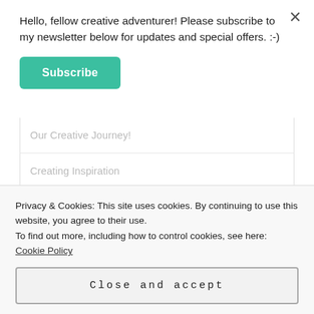Hello, fellow creative adventurer! Please subscribe to my newsletter below for updates and special offers. :-)
Subscribe
Our Creative Journey!
Creating Inspiration
Au Contraire – 2016
Privacy & Cookies: This site uses cookies. By continuing to use this website, you agree to their use.
To find out more, including how to control cookies, see here: Cookie Policy
Close and accept